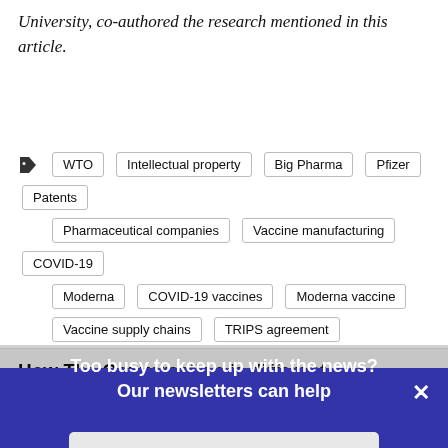University, co-authored the research mentioned in this article.
WTO
Intellectual property
Big Pharma
Pfizer
Patents
Pharmaceutical companies
Vaccine manufacturing
COVID-19
Moderna
COVID-19 vaccines
Moderna vaccine
Vaccine supply chains
TRIPS agreement
Booster shot
COVID booster
Pfizer booster shot
How The Conversation is different
Too busy to keep up with the news? Our newsletters can help
Get weekly highlights